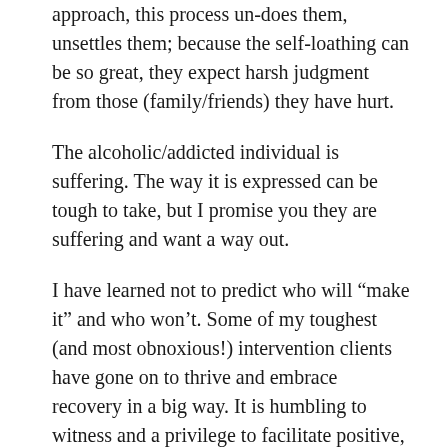approach, this process un-does them, unsettles them; because the self-loathing can be so great, they expect harsh judgment from those (family/friends) they have hurt.
The alcoholic/addicted individual is suffering. The way it is expressed can be tough to take, but I promise you they are suffering and want a way out.
I have learned not to predict who will “make it” and who won’t. Some of my toughest (and most obnoxious!) intervention clients have gone on to thrive and embrace recovery in a big way. It is humbling to witness and a privilege to facilitate positive, healthy change in a stuck, hurting family system. One never knows who will be impacted by this intervention process. The alcohol/drug